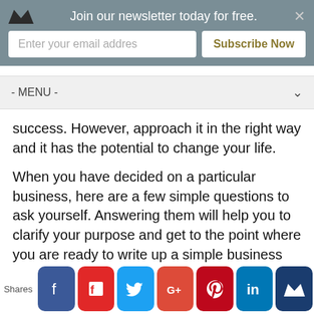[Figure (screenshot): Newsletter subscription banner with crown logo, email input field, Subscribe Now button, and close X]
[Figure (screenshot): Navigation menu bar with - MENU - label and dropdown chevron]
success. However, approach it in the right way and it has the potential to change your life.
When you have decided on a particular business, here are a few simple questions to ask yourself. Answering them will help you to clarify your purpose and get to the point where you are ready to write up a simple business plan.
What is your goal?
What products or services do you want to promote?
How much money will you need to start?
[Figure (screenshot): Social sharing bar with Shares label and icons for Facebook, Flipboard, Twitter, Google+, Pinterest, LinkedIn, and crown brand]